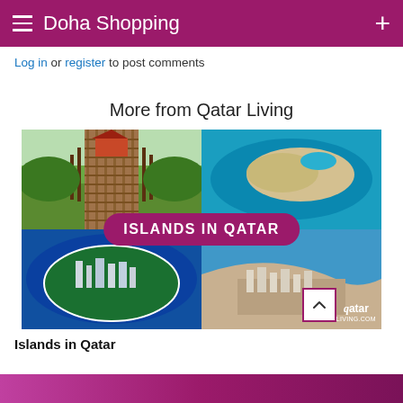Doha Shopping
Log in or register to post comments
More from Qatar Living
[Figure (infographic): Collage of four aerial/landscape images showing islands and a boardwalk in Qatar, with a pink banner overlay reading 'ISLANDS IN QATAR' and Qatar Living logo in bottom right corner. A scroll-to-top button appears in the bottom right.]
Islands in Qatar
[Figure (photo): Bottom strip showing partial image of another article]